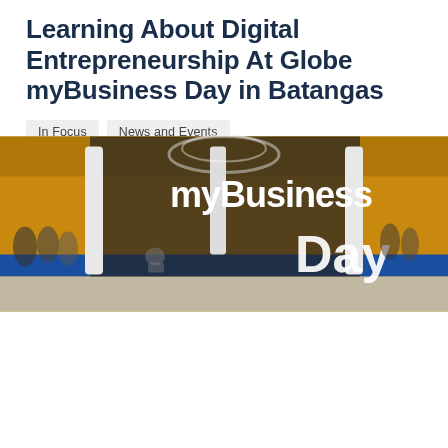[Figure (photo): Interior of an event venue with 'myBusiness Day' large signage in blue and white letters against an orange/yellow background, with people visible in the hall]
Learning About Digital Entrepreneurship At Globe myBusiness Day in Batangas
In Focus
News and Events
Last February 20, over 300 existing and aspiring entrepreneurs gathered at the SM City Batangas Activity Center to attend the Globe myBusiness Day. Now on its 3rd installment, with previous [...]